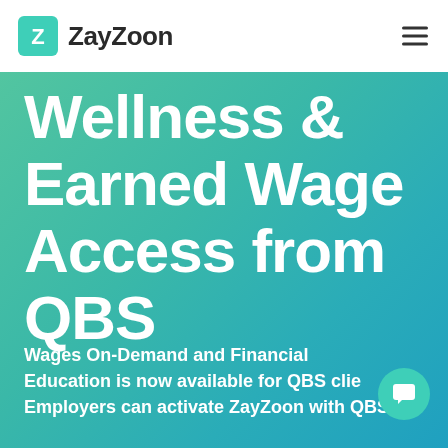ZayZoon
Wellness & Earned Wage Access from QBS
Wages On-Demand and Financial Education is now available for QBS clie... Employers can activate ZayZoon with QBS